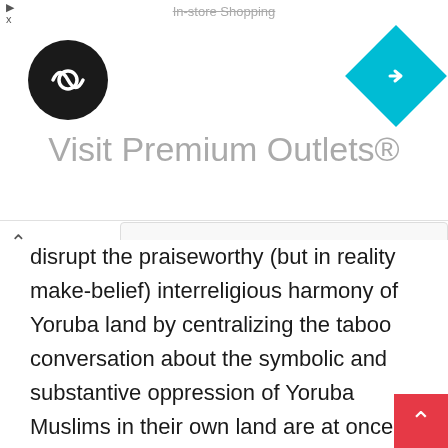[Figure (screenshot): Advertisement banner for Visit Premium Outlets with circular dark logo on left, cyan diamond navigation icon on right, and gray text title in center. Also shows partial UI elements including an up chevron and a search/input overlay.]
disrupt the praiseworthy (but in reality make-belief) interreligious harmony of Yoruba land by centralizing the taboo conversation about the symbolic and substantive oppression of Yoruba Muslims in their own land are at once unreflective, escapist, and insensitive.
If just one column by a geographically distant columnist is all it takes to explode the glorious edifice of religious harmony in Yoruba land, then there wasn't one in the first place. If there was one